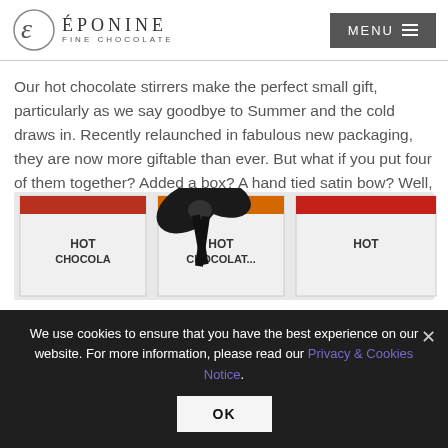ÉPONINE FINE CHOCOLATE | MENU
Our hot chocolate stirrers make the perfect small gift, particularly as we say goodbye to Summer and the cold draws in. Recently relaunched in fabulous new packaging, they are now more giftable than ever. But what if you put four of them together? Added a box? A hand tied satin bow? Well, now you've got something really special.
[Figure (photo): Box of four hot chocolate stirrers in individual clear packaging with colored labels (red, orange, red) reading 'HOT CHOCO...' with a black satin bow tied on top]
We use cookies to ensure that you have the best experience on our website. For more information, please read our Privacy & Cookies Notice.
OK